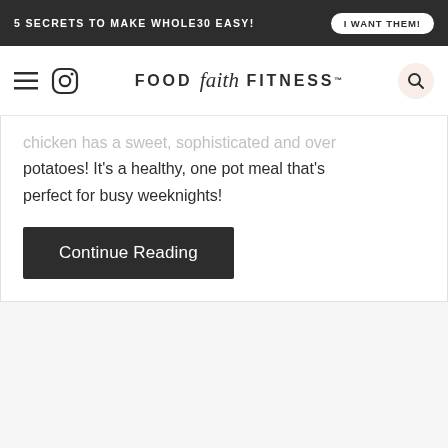5 SECRETS TO MAKE WHOLE30 EASY! | I WANT THEM!
[Figure (logo): Food Faith Fitness logo with hamburger menu and Instagram icon on the left, and search icon on the right]
chicken has a sweet, sophisticated and over potatoes! It's a healthy, one pot meal that's perfect for busy weeknights!
Continue Reading